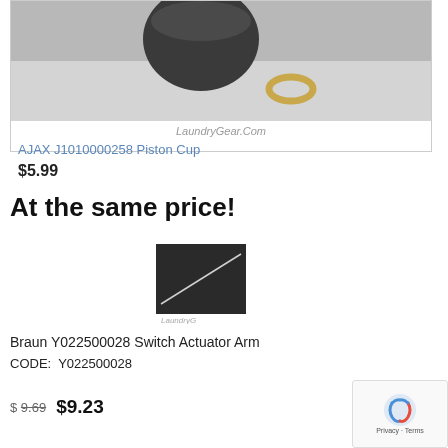[Figure (photo): Product photo showing a dark grey/black piston cup and a small gold ring on a light grey surface, with LaundryGear.Com watermark]
LaundryGear.Com
AJAX J1010000258 Piston Cup
$5.99
At the same price!
[Figure (photo): Small thumbnail product photo on dark background with LaundryG watermark]
Braun Y022500028 Switch Actuator Arm
CODE:  Y022500028
$ 9.69   $9.23